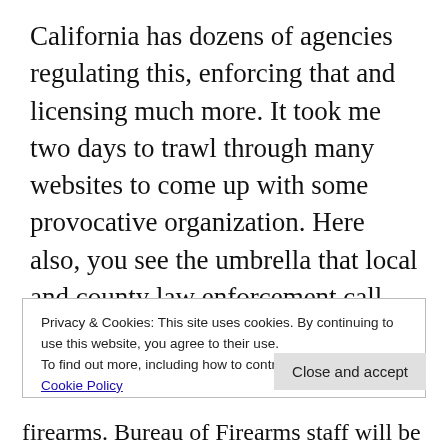California has dozens of agencies regulating this, enforcing that and licensing much more. It took me two days to trawl through many websites to come up with some provocative organization. Here also, you see the umbrella that local and county law enforcement call upon in times of need.
Privacy & Cookies: This site uses cookies. By continuing to use this website, you agree to their use.
To find out more, including how to control cookies, see here: Cookie Policy
firearms. Bureau of Firearms staff will be leaders